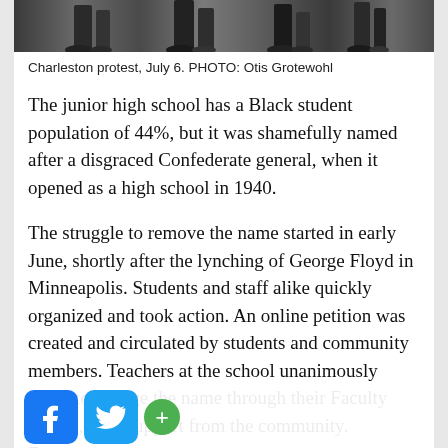[Figure (photo): Cropped bottom portion of a protest photograph showing people's legs and feet on a street or sidewalk]
Charleston protest, July 6. PHOTO: Otis Grotewohl
The junior high school has a Black student population of 44%, but it was shamefully named after a disgraced Confederate general, when it opened as a high school in 1940.
The struggle to remove the name started in early June, shortly after the lynching of George Floyd in Minneapolis.  Students and staff alike quickly organized and took action.  An online petition was created and circulated by students and community members.  Teachers at the school unanimously voted to change the name through their Faculty Senate, with support from the community.  Following the petition and Faculty Senate vote, people addressed their results to the Board of